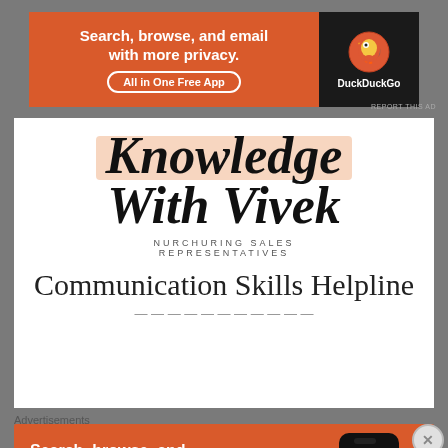[Figure (screenshot): DuckDuckGo advertisement banner - top - orange banner with text 'Search, browse, and email with more privacy. All in One Free App' and DuckDuckGo logo on dark background]
[Figure (logo): Knowledge With Vivek logo - cursive script text on peach brush stroke background, with tagline 'NURCHURING SALES REPRESENTATIVES']
Communication Skills Helpline
Advertisements
[Figure (screenshot): DuckDuckGo advertisement banner - bottom - orange background with text 'Search, browse, and email with more privacy. All in One Free App' and phone mockup with DuckDuckGo logo]